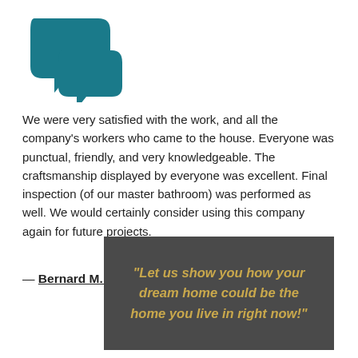[Figure (illustration): Two overlapping speech bubble / chat bubble icons in dark teal color, one larger behind and one smaller in front]
We were very satisfied with the work, and all the company's workers who came to the house. Everyone was punctual, friendly, and very knowledgeable. The craftsmanship displayed by everyone was excellent. Final inspection (of our master bathroom) was performed as well. We would certainly consider using this company again for future projects.
— Bernard M. in Sierra Vista, Arizona
“Let us show you how your dream home could be the home you live in right now!”